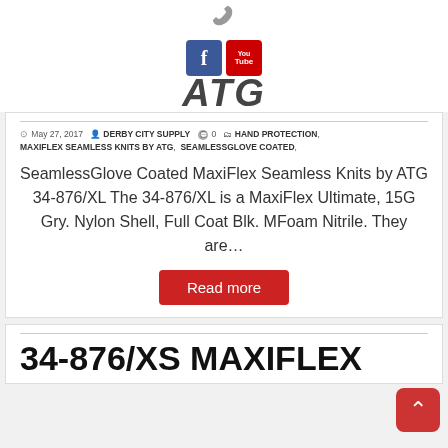[Figure (logo): Phone icon, Facebook icon, YouTube icon, and ATG text logo at top of page]
May 27, 2017  DERBY CITY SUPPLY  0  HAND PROTECTION, MAXIFLEX SEAMLESS KNITS BY ATG, SEAMLESSGLOVE COATED,
SeamlessGlove Coated MaxiFlex Seamless Knits by ATG 34-876/XL The 34-876/XL is a MaxiFlex Ultimate, 15G Gry. Nylon Shell, Full Coat Blk. MFoam Nitrile. They are…
Read more
34-876/XS MAXIFLEX